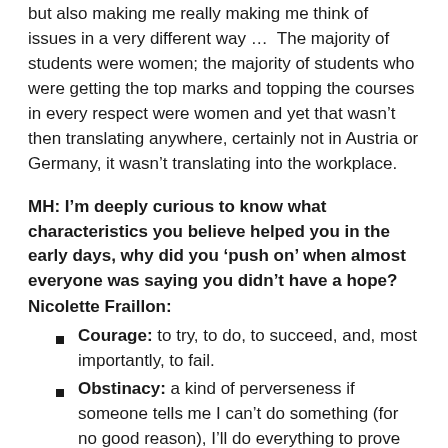but also making me really making me think of issues in a very different way ... The majority of students were women; the majority of students who were getting the top marks and topping the courses in every respect were women and yet that wasn't then translating anywhere, certainly not in Austria or Germany, it wasn't translating into the workplace.
MH: I'm deeply curious to know what characteristics you believe helped you in the early days, why did you 'push on' when almost everyone was saying you didn't have a hope?
Nicolette Fraillon:
Courage: to try, to do, to succeed, and, most importantly, to fail.
Obstinacy: a kind of perverseness if someone tells me I can't do something (for no good reason), I'll do everything to prove them wrong
Optimism